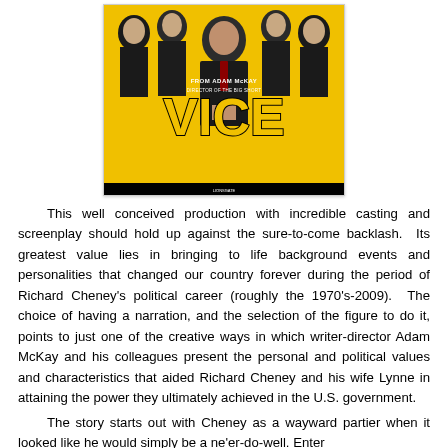[Figure (illustration): Movie poster for VICE (film). Yellow background with group of actors in suits. Large yellow bold text 'VICE' in center. Text above reads 'FROM ADAM McKAY' and other credits. Bottom right text 'IN CINEMAS JANUARY 25'.]
This well conceived production with incredible casting and screenplay should hold up against the sure-to-come backlash. Its greatest value lies in bringing to life background events and personalities that changed our country forever during the period of Richard Cheney's political career (roughly the 1970's-2009). The choice of having a narration, and the selection of the figure to do it, points to just one of the creative ways in which writer-director Adam McKay and his colleagues present the personal and political values and characteristics that aided Richard Cheney and his wife Lynne in attaining the power they ultimately achieved in the U.S. government.
The story starts out with Cheney as a wayward partier when it looked like he would simply be a ne'er-do-well. Enter